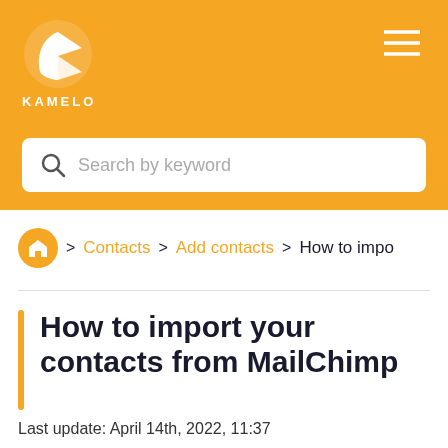KAMELO
Search by keyword
> Contacts > Add contacts > How to impo
How to import your contacts from MailChimp
Last update: April 14th, 2022, 11:37
To import your contacts from MailChi...